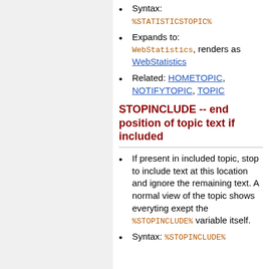Syntax: %STATISTICSTOPIC%
Expands to: WebStatistics, renders as WebStatistics
Related: HOMETOPIC, NOTIFYTOPIC, TOPIC
STOPINCLUDE -- end position of topic text if included
If present in included topic, stop to include text at this location and ignore the remaining text. A normal view of the topic shows everyting exept the %STOPINCLUDE% variable itself.
Syntax: %STOPINCLUDE%